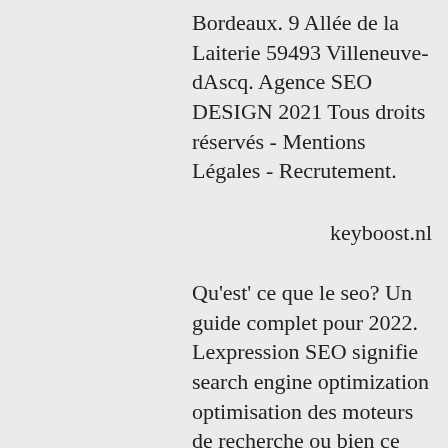Bordeaux. 9 Allée de la Laiterie 59493 Villeneuve-dAscq. Agence SEO DESIGN 2021 Tous droits réservés - Mentions Légales - Recrutement.
keyboost.nl
Qu'est' ce que le seo? Un guide complet pour 2022. Lexpression SEO signifie search engine optimization optimisation des moteurs de recherche ou bien ce quon lappelle le référencement naturel. Il sagit dune pratique consistant à optimiser vos pages web pour